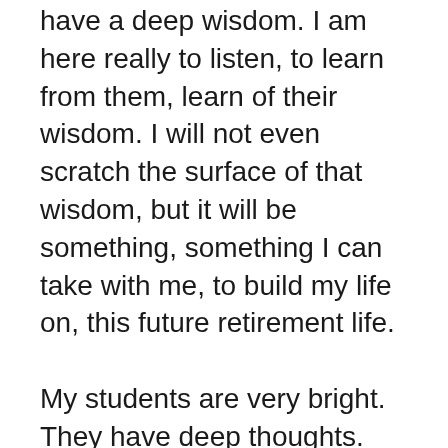have a deep wisdom. I am here really to listen, to learn from them, learn of their wisdom. I will not even scratch the surface of that wisdom, but it will be something, something I can take with me, to build my life on, this future retirement life.
My students are very bright. They have deep thoughts. I'm amazed where they go with their self-reflection exercises. I am here to listen to them. I know my tribe has taken their soul from them, coercing them with cigarettes and pizza and TV. A lot to answer for, my tribe. The students are academically weak from the quality of their high school education. They have little confidence. They find managing money and long-term goals